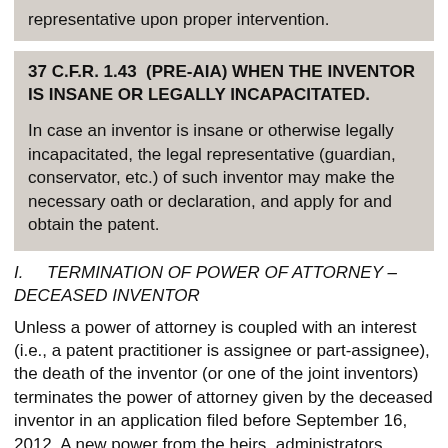representative upon proper intervention.
37 C.F.R. 1.43  (PRE-AIA) WHEN THE INVENTOR IS INSANE OR LEGALLY INCAPACITATED.
In case an inventor is insane or otherwise legally incapacitated, the legal representative (guardian, conservator, etc.) of such inventor may make the necessary oath or declaration, and apply for and obtain the patent.
I.    TERMINATION OF POWER OF ATTORNEY – DECEASED INVENTOR
Unless a power of attorney is coupled with an interest (i.e., a patent practitioner is assignee or part-assignee), the death of the inventor (or one of the joint inventors) terminates the power of attorney given by the deceased inventor in an application filed before September 16, 2012. A new power from the heirs, administrators, executors, or assignees is necessary if the deceased